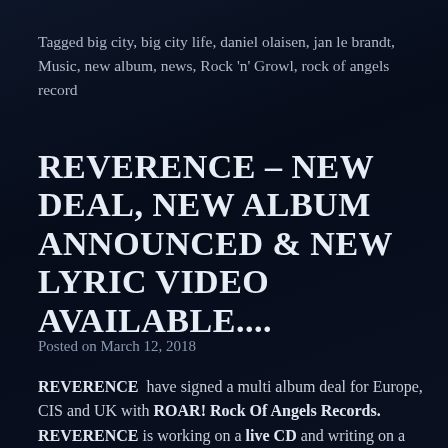Tagged big city, big city life, daniel olaisen, jan le brandt, Music, new album, news, Rock 'n' Growl, rock of angels record
REVERENCE – NEW DEAL, NEW ALBUM ANNOUNCED & NEW LYRIC VIDEO AVAILABLE....
Posted on March 12, 2018
REVERENCE have signed a multi album deal for Europe, CIS and UK with ROAR! Rock Of Angels Records. REVERENCE is working on a live CD and writing on a new full